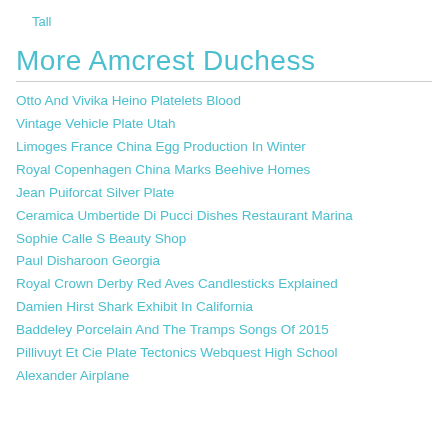Tall
More Amcrest Duchess
Otto And Vivika Heino Platelets Blood
Vintage Vehicle Plate Utah
Limoges France China Egg Production In Winter
Royal Copenhagen China Marks Beehive Homes
Jean Puiforcat Silver Plate
Ceramica Umbertide Di Pucci Dishes Restaurant Marina
Sophie Calle S Beauty Shop
Paul Disharoon Georgia
Royal Crown Derby Red Aves Candlesticks Explained
Damien Hirst Shark Exhibit In California
Baddeley Porcelain And The Tramps Songs Of 2015
Pillivuyt Et Cie Plate Tectonics Webquest High School
Alexander Airplane